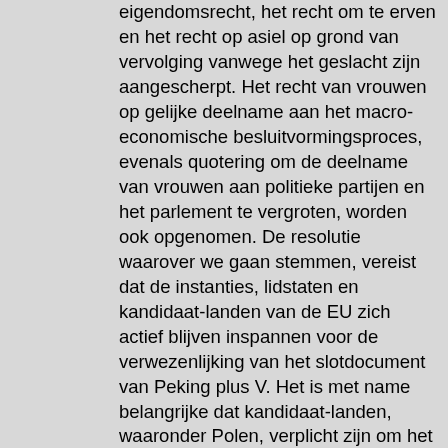eigendomsrecht, het recht om te erven en het recht op asiel op grond van vervolging vanwege het geslacht zijn aangescherpt. Het recht van vrouwen op gelijke deelname aan het macro-economische besluitvormingsproces, evenals quotering om de deelname van vrouwen aan politieke partijen en het parlement te vergroten, worden ook opgenomen. De resolutie waarover we gaan stemmen, vereist dat de instanties, lidstaten en kandidaat-landen van de EU zich actief blijven inspannen voor de verwezenlijking van het slotdocument van Peking plus V. Het is met name belangrijke dat kandidaat-landen, waaronder Polen, verplicht zijn om het EU-beleid voor de rechten van de vrouw te voeren. Nu zijn er nog financiële middelen nodig om de be...